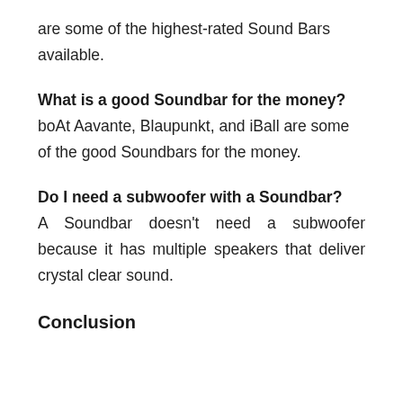are some of the highest-rated Sound Bars available.
What is a good Soundbar for the money?
boAt Aavante, Blaupunkt, and iBall are some of the good Soundbars for the money.
Do I need a subwoofer with a Soundbar?
A Soundbar doesn’t need a subwoofer because it has multiple speakers that deliver crystal clear sound.
Conclusion